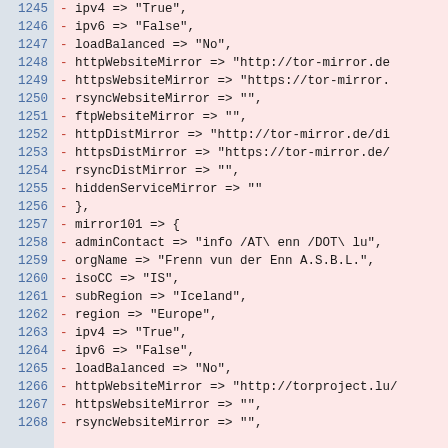Code diff showing lines 1245-1268 with removed lines (marked with -) containing mirror configuration data including ipv4, ipv6, loadBalanced, httpWebsiteMirror, httpsWebsiteMirror, rsyncWebsiteMirror, ftpWebsiteMirror, httpDistMirror, httpsDistMirror, rsyncDistMirror, hiddenServiceMirror, mirror101 block with adminContact, orgName, isoCC, subRegion, region, ipv4, ipv6, loadBalanced, httpWebsiteMirror, httpsWebsiteMirror, rsyncWebsiteMirror fields